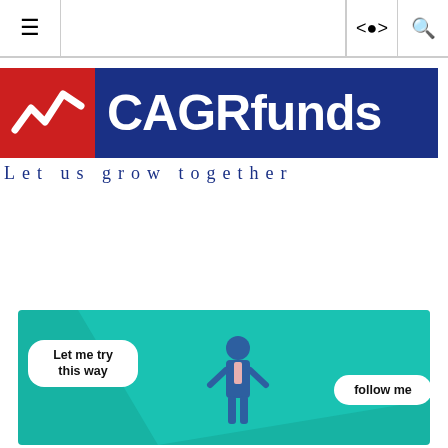≡  [share] [search]
[Figure (logo): CAGRfunds logo — red square with white checkmark/chart icon on left, dark blue rectangle with white text 'CAGRfunds' on right, tagline 'Let us grow together' below in spaced blue serif text]
[Figure (illustration): Teal/turquoise illustration with diagonal light panel, a businessman figure in center, speech bubble on left reading 'Let me try this way' and partial speech bubble on right reading 'follow me']